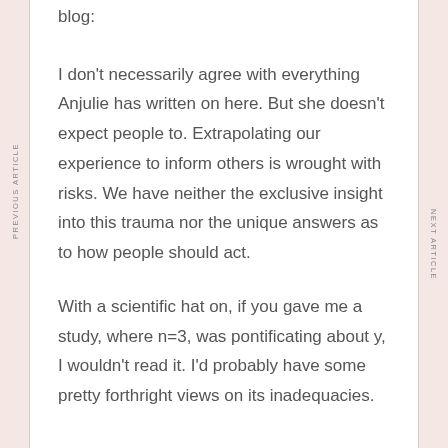blog:
I don't necessarily agree with everything Anjulie has written on here. But she doesn't expect people to. Extrapolating our experience to inform others is wrought with risks. We have neither the exclusive insight into this trauma nor the unique answers as to how people should act.
With a scientific hat on, if you gave me a study, where n=3, was pontificating about y, I wouldn't read it. I'd probably have some pretty forthright views on its inadequacies.
PREVIOUS ARTICLE
NEXT ARTICLE